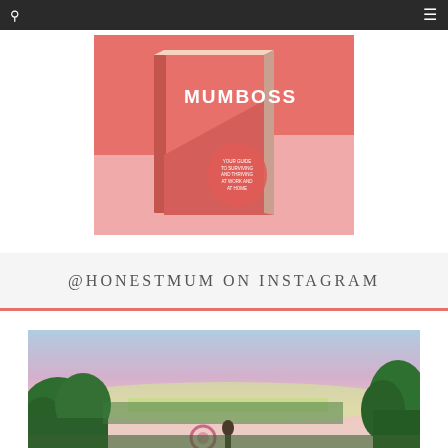navigation bar with search and menu icons
[Figure (photo): Book cover of 'MUMBOSS' displayed on a pink and coral background. The book is standing upright showing its cover with bold white text 'MUMBOSS' and subtitle text 'YOUR GUIDE TO SURVIVING AND THRIVING AT WORK AND AT HOME'.]
@HONESTMUM ON INSTAGRAM
[Figure (photo): Outdoor garden photo at dusk/sunset showing hedges and trees with a pink and blue sky in the background. There appears to be a person and some circular garden ornament visible.]